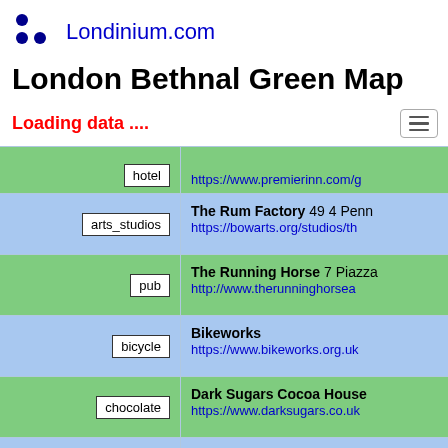Londinium.com
London Bethnal Green Map
Loading data ....
| category | name / url |
| --- | --- |
| hotel | https://www.premierinn.com/g... |
| arts_studios | The Rum Factory 49 4 Penn...
https://bowarts.org/studios/th... |
| pub | The Running Horse 7 Piazza...
http://www.therunninghorsea... |
| bicycle | Bikeworks
https://www.bikeworks.org.uk... |
| chocolate | Dark Sugars Cocoa House
https://www.darksugars.co.uk... |
| bar | Kill the Cat 43 Brick Lane Lo...
https://www.killthecat.co.k... |